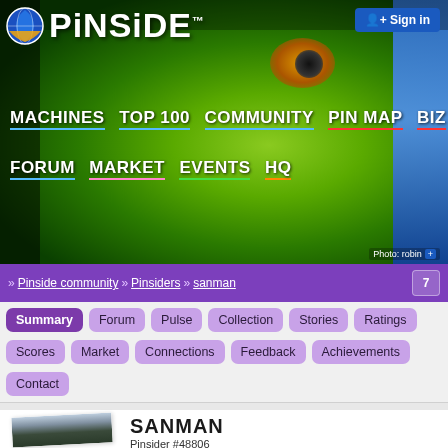[Figure (screenshot): Pinside website header banner with logo, navigation links, and a green monster/alien face background image. Sign in button in top right.]
» Pinside community » Pinsiders » sanman
Summary
Forum
Pulse
Collection
Stories
Ratings
Scores
Market
Connections
Feedback
Achievements
Contact
SANMAN
Pinsider #48806
Joined Pinside: December 5th, 2017 (4 years ago)
Last seen here: March 19th, 2022